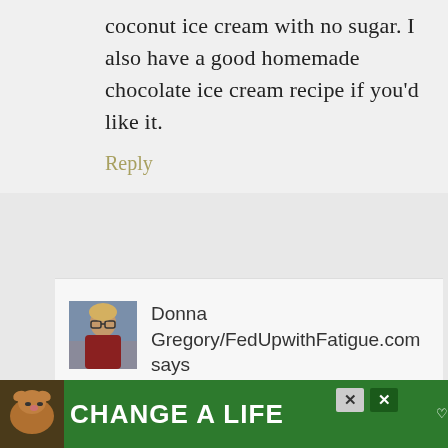coconut ice cream with no sugar. I also have a good homemade chocolate ice cream recipe if you'd like it.
Reply
[Figure (photo): Avatar photo of Donna Gregory, a woman with glasses and reddish clothing, outdoors]
Donna Gregory/FedUpwithFatigue.com says
May 23, 2018 at 11:46 pm
I like the So Delicious ice
[Figure (infographic): Green advertisement banner reading CHANGE A LIFE with a dog photo on the left and close/dismiss buttons on the right]